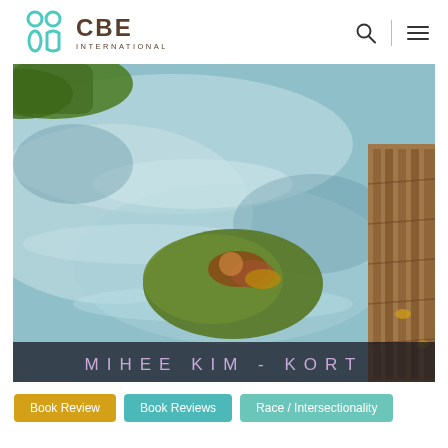[Figure (logo): CBE International logo with teal icon and brown text]
[Figure (photo): Book cover photo of a flowing stream with moss-covered rocks and wooden bridge planks on the right, with author name MIHEE KIM-KORT at the bottom and 'Copyrighted Material' watermark]
Book Review
Book Reviews
Race / Intersectionality